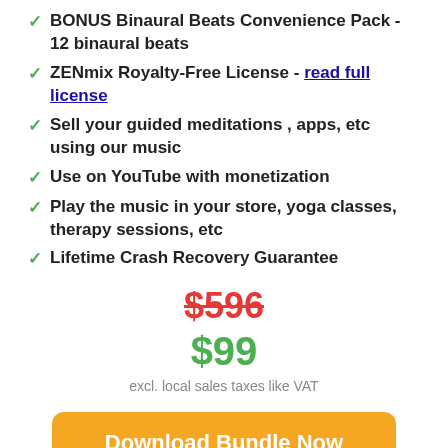BONUS Binaural Beats Convenience Pack - 12 binaural beats
ZENmix Royalty-Free License - read full license
Sell your guided meditations , apps, etc using our music
Use on YouTube with monetization
Play the music in your store, yoga classes, therapy sessions, etc
Lifetime Crash Recovery Guarantee
$596 (strikethrough)
$99
excl. local sales taxes like VAT
Download Bundle Now
Secure payments with